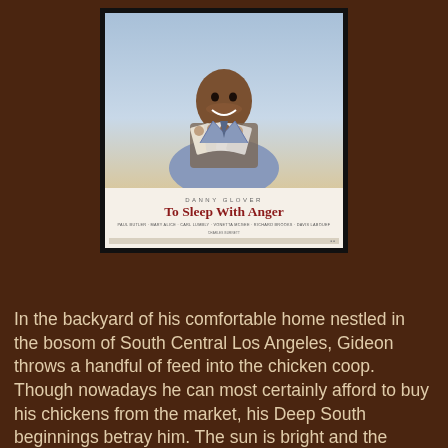[Figure (photo): Movie poster for 'To Sleep With Anger' starring Danny Glover. The poster shows a smiling Black man in a suit holding a fan of photographs. Below the image: 'DANNY GLOVER' in small caps, then 'To Sleep With Anger' in large bold red serif text, followed by cast credits in small print.]
In the backyard of his comfortable home nestled in the bosom of South Central Los Angeles, Gideon throws a handful of feed into the chicken coop. Though nowadays he can most certainly afford to buy his chickens from the market, his Deep South beginnings betray him. The sun is bright and the brown ground scuffs his bare feet. In the living room, his wife Suzie leads a group of pregnant women in breathing exercises. The only sounds to be heard are her gentle voice, the exhalation of air, and the scurrying of her